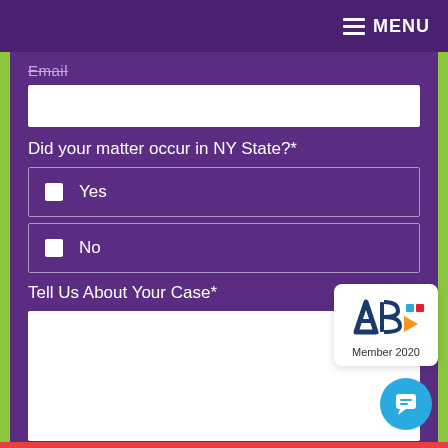MENU
Email
Did your matter occur in NY State?*
Yes
No
Tell Us About Your Case*
5000
[Figure (logo): ABA Member 2020 badge with colorful ABA logo]